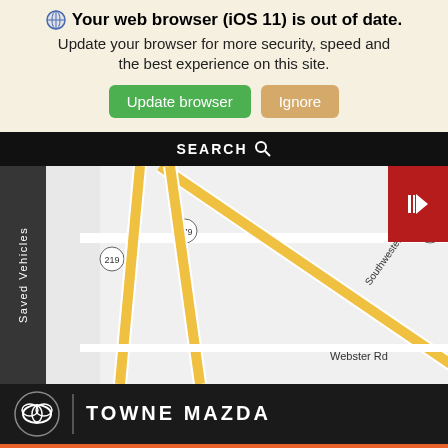🌐 Your web browser (iOS 11) is out of date. Update your browser for more security, speed and the best experience on this site.
Update browser | Ignore
SEARCH
[Figure (map): Street map showing roads including Southwestern Blvd, Milestrip Rd, Webster Rd, and route numbers 179, 219, 240 with yellow road highlights]
Saved Vehicles
TOWNE MAZDA
Just ask